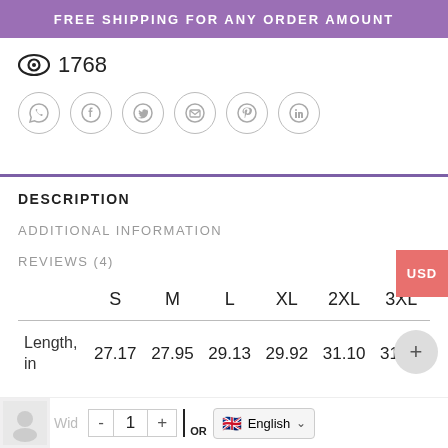FREE SHIPPING FOR ANY ORDER AMOUNT
1768
[Figure (other): Social share icons: WhatsApp, Facebook, Twitter, Email, Pinterest, LinkedIn — each in a circular border]
DESCRIPTION
ADDITIONAL INFORMATION
REVIEWS (4)
|  | S | M | L | XL | 2XL | 3XL |
| --- | --- | --- | --- | --- | --- | --- |
| Length, in | 27.17 | 27.95 | 29.13 | 29.92 | 31.10 | 31.89 |
Wid...